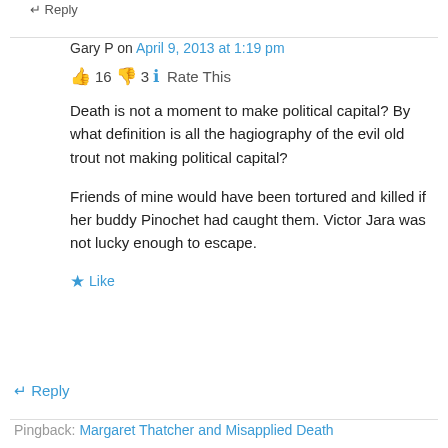↵ Reply
Gary P on April 9, 2013 at 1:19 pm
👍 16 👎 3 ℹ Rate This
Death is not a moment to make political capital? By what definition is all the hagiography of the evil old trout not making political capital?

Friends of mine would have been tortured and killed if her buddy Pinochet had caught them. Victor Jara was not lucky enough to escape.
★ Like
↵ Reply
Pingback: Margaret Thatcher and Misapplied Death